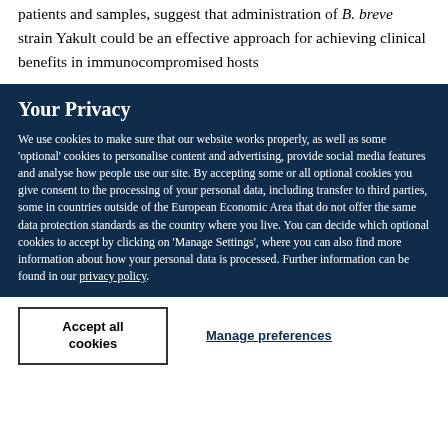patients and samples, suggest that administration of B. breve strain Yakult could be an effective approach for achieving clinical benefits in immunocompromised hosts
Your Privacy
We use cookies to make sure that our website works properly, as well as some 'optional' cookies to personalise content and advertising, provide social media features and analyse how people use our site. By accepting some or all optional cookies you give consent to the processing of your personal data, including transfer to third parties, some in countries outside of the European Economic Area that do not offer the same data protection standards as the country where you live. You can decide which optional cookies to accept by clicking on 'Manage Settings', where you can also find more information about how your personal data is processed. Further information can be found in our privacy policy.
Accept all cookies
Manage preferences